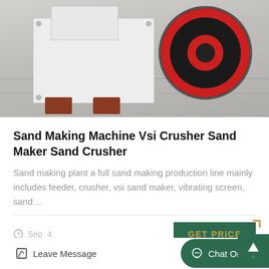[Figure (photo): White jaw crusher / sand making machine on a concrete floor, showing large flywheel with red and black coloring]
Sand Making Machine Vsi Crusher Sand Maker Sand Crusher
Sand making plant a full sand making production line mainly includes feeder, crusher, vsi sand maker, vibrating screen, sand…
Sep_4
[Figure (photo): Industrial conveyor belt / sand processing plant equipment against a hillside backdrop]
Leave Message
Chat Online